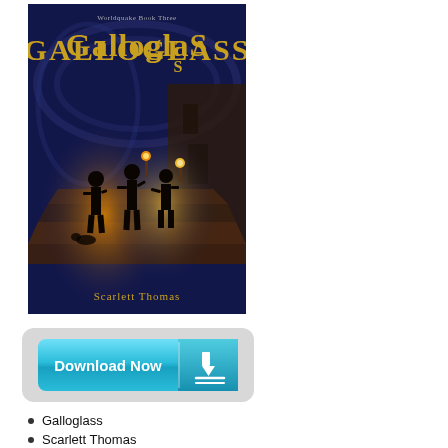[Figure (illustration): Book cover of Galloglass, Worldquake Book Three by Scarlett Thomas. Dark blue fantasy cover showing silhouettes of three figures with torches exploring a cave or ancient stone stairway. Title in gold ornate lettering at top, author name at bottom in gold.]
[Figure (other): Download Now button with cyan/teal gradient background, white bold text on left side, download arrow icon on right side, contained within a light gray rounded rectangle button wrapper.]
Galloglass
Scarlett Thomas